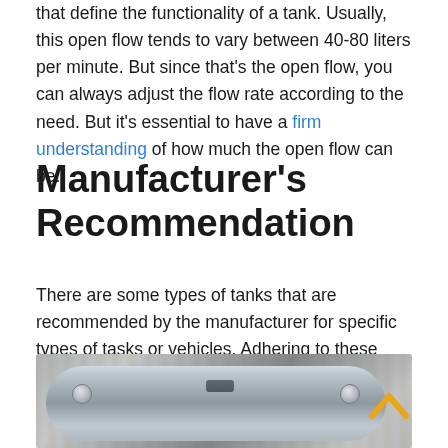that define the functionality of a tank. Usually, this open flow tends to vary between 40-80 liters per minute. But since that's the open flow, you can always adjust the flow rate according to the need. But it's essential to have a firm understanding of how much the open flow can be.
Manufacturer's Recommendation
There are some types of tanks that are recommended by the manufacturer for specific types of tasks or vehicles. Adhering to these recommendations is always going to help you get the job done with the least complications.
[Figure (photo): A silver/grey cylindrical tank photographed at an angle, showing bolts and a vent on top. Wooden background visible.]